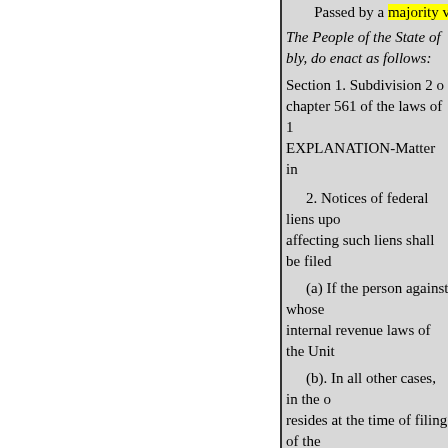Passed by a majority v
The People of the State of ... bly, do enact as follows:
Section 1. Subdivision 2 o chapter 561 of the laws of 1 EXPLANATION-Matter in
2. Notices of federal liens upo affecting such liens shall be filed
(a) If the person against whose internal revenue laws of the Unit
(b). In all other cases, in the o resides at the time of filing of the of Kings, the county of Queens, liens shall be in the office of the
than one lienee, against whose in subdivision for each such lienee. the city of New York, prior to Jul lien shall, prior to September firs subdivision three of section two September first, nineteen hundre